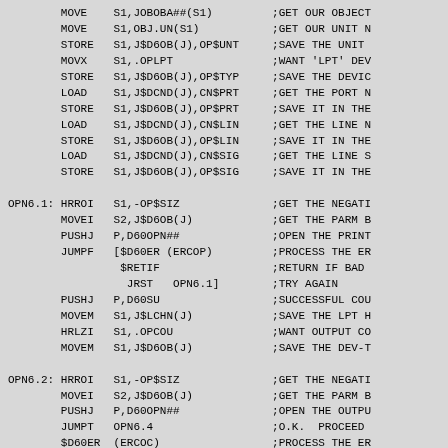Assembly language code listing with MOVE, STORE, MOVX, LOAD, HRROI, MOVEI, PUSHJ, JUMPF, MOVEM, HRLZI, JUMPT instructions and associated comments for OPN6.1 and OPN6.2 labels